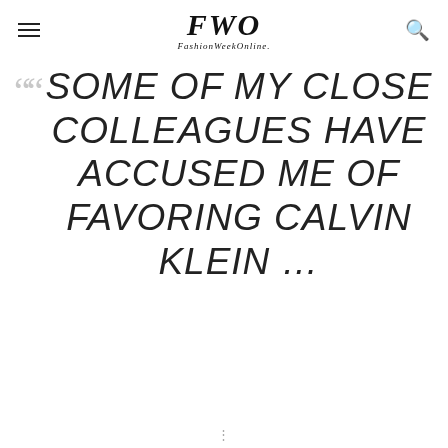FWO FashionWeekOnline.
““ SOME OF MY CLOSE COLLEAGUES HAVE ACCUSED ME OF FAVORING CALVIN KLEIN …